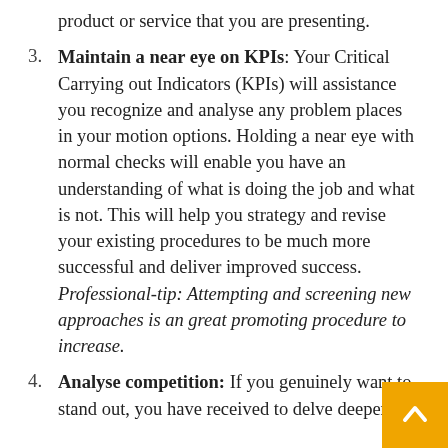product or service that you are presenting.
3. Maintain a near eye on KPIs: Your Critical Carrying out Indicators (KPIs) will assistance you recognize and analyse any problem places in your motion options. Holding a near eye with normal checks will enable you have an understanding of what is doing the job and what is not. This will help you strategy and revise your existing procedures to be much more successful and deliver improved success. Professional-tip: Attempting and screening new approaches is an great promoting procedure to increase.
4. Analyse competition: If you genuinely want to stand out, you have received to delve deeper.